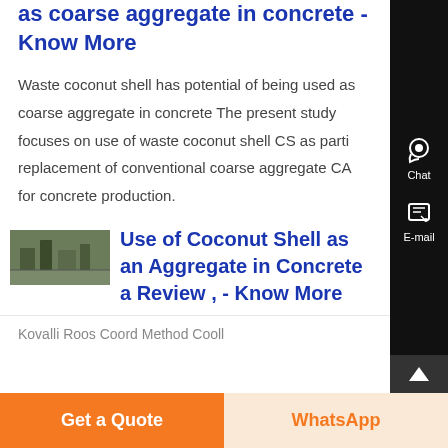as coarse aggregate in concrete - Know More
Waste coconut shell has potential of being used as coarse aggregate in concrete The present study focuses on use of waste coconut shell CS as parti replacement of conventional coarse aggregate CA for concrete production.
[Figure (photo): Thumbnail image of industrial/construction equipment outdoor scene]
Use of Coconut Shell as an Aggregate in Concrete a Review , - Know More
Kovalli Roos Coord Method Cooll...
Get a Quote
WhatsApp